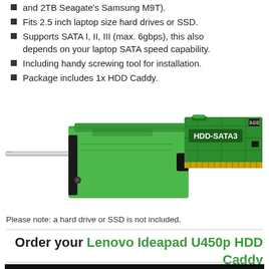and 2TB Seagate's Samsung M9T).
Fits 2.5 inch laptop size hard drives or SSD.
Supports SATA I, II, III (max. 6gbps), this also depends on your laptop SATA speed capability.
Including handy screwing tool for installation.
Package includes 1x HDD Caddy.
[Figure (photo): Photos of green HDD caddy components: a screwdriver bit on the left, the green aluminum caddy bracket in the center, and a green PCB circuit board labeled HDD-SATA3 on the right]
Please note: a hard drive or SSD is not included.
Order your Lenovo Ideapad U450p HDD Caddy here